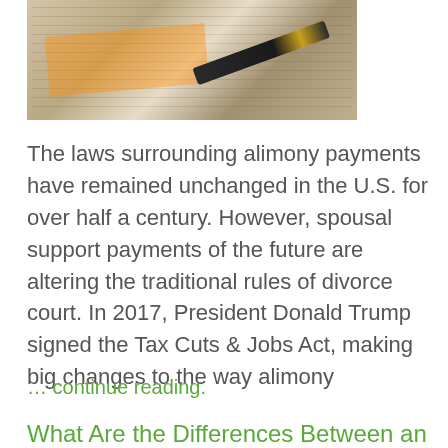[Figure (photo): Photo of financial/legal documents with a pen and orange highlighter on top]
The laws surrounding alimony payments have remained unchanged in the U.S. for over half a century. However, spousal support payments of the future are altering the traditional rules of divorce court. In 2017, President Donald Trump signed the Tax Cuts & Jobs Act, making big changes to the way alimony
… continue reading.
What Are the Differences Between an Uncontested Divorce and a Courtroom Divorce?
Posted June 20, 2019